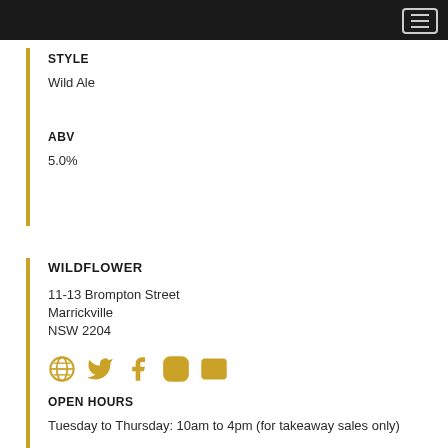STYLE
Wild Ale
ABV
5.0%
WILDFLOWER
11-13 Brompton Street
Marrickville
NSW 2204
[Figure (other): Social media icons: globe, Twitter, Facebook, Instagram, email — all in gold/yellow color]
OPEN HOURS
Tuesday to Thursday: 10am to 4pm (for takeaway sales only)